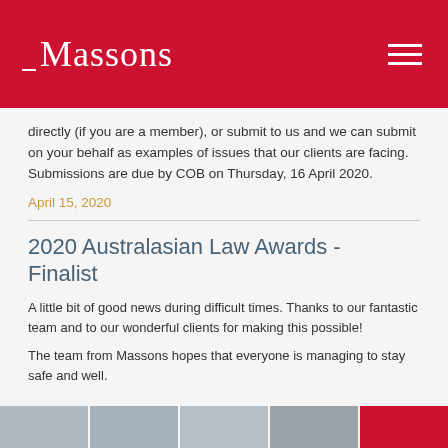Massons
directly (if you are a member), or submit to us and we can submit on your behalf as examples of issues that our clients are facing.  Submissions are due by COB on Thursday, 16 April 2020.
April 15, 2020
2020 Australasian Law Awards - Finalist
A little bit of good news during difficult times. Thanks to our fantastic team and to our wonderful clients for making this possible!
The team from Massons hopes that everyone is managing to stay safe and well.
[Figure (photo): Row of team member headshot photos at the bottom of the page, with a red panel on the right.]